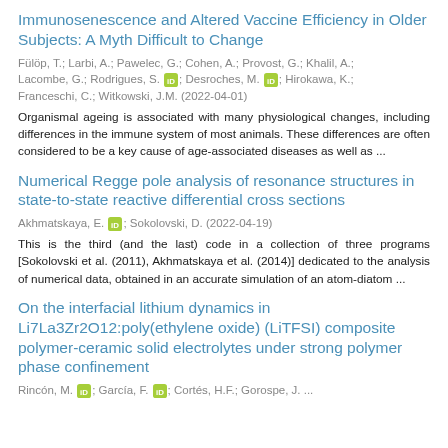Immunosenescence and Altered Vaccine Efficiency in Older Subjects: A Myth Difficult to Change
Fülöp, T.; Larbi, A.; Pawelec, G.; Cohen, A.; Provost, G.; Khalil, A.; Lacombe, G.; Rodrigues, S. [orcid]; Desroches, M. [orcid]; Hirokawa, K.; Franceschi, C.; Witkowski, J.M. (2022-04-01)
Organismal ageing is associated with many physiological changes, including differences in the immune system of most animals. These differences are often considered to be a key cause of age-associated diseases as well as ...
Numerical Regge pole analysis of resonance structures in state-to-state reactive differential cross sections
Akhmatskaya, E. [orcid]; Sokolovski, D. (2022-04-19)
This is the third (and the last) code in a collection of three programs [Sokolovski et al. (2011), Akhmatskaya et al. (2014)] dedicated to the analysis of numerical data, obtained in an accurate simulation of an atom-diatom ...
On the interfacial lithium dynamics in Li7La3Zr2O12:poly(ethylene oxide) (LiTFSI) composite polymer-ceramic solid electrolytes under strong polymer phase confinement
Rincón, M. [orcid]; García, F. [orcid]; Cortés, H.F.; Gorospe, J. ...